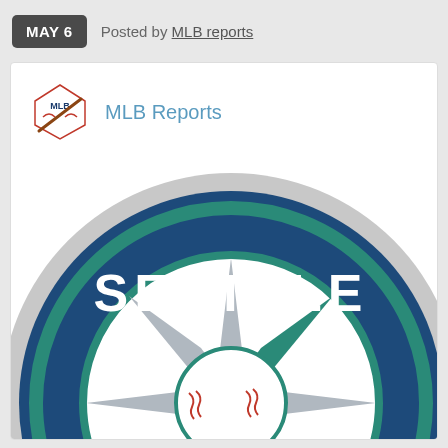MAY 6  Posted by MLB reports
[Figure (logo): MLB Reports small logo icon - baseball home plate with MLB text and bat]
MLB Reports
[Figure (logo): Seattle Mariners compass logo - large circular logo with navy blue background, 'SEATTLE' text in white, compass star design in teal and gray, baseball stitching details, TM mark visible]